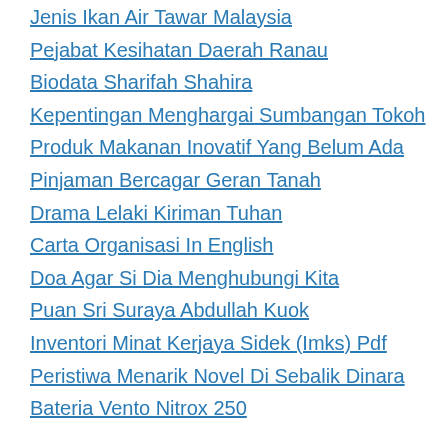Jenis Ikan Air Tawar Malaysia
Pejabat Kesihatan Daerah Ranau
Biodata Sharifah Shahira
Kepentingan Menghargai Sumbangan Tokoh
Produk Makanan Inovatif Yang Belum Ada
Pinjaman Bercagar Geran Tanah
Drama Lelaki Kiriman Tuhan
Carta Organisasi In English
Doa Agar Si Dia Menghubungi Kita
Puan Sri Suraya Abdullah Kuok
Inventori Minat Kerjaya Sidek (Imks) Pdf
Peristiwa Menarik Novel Di Sebalik Dinara
Bateria Vento Nitrox 250